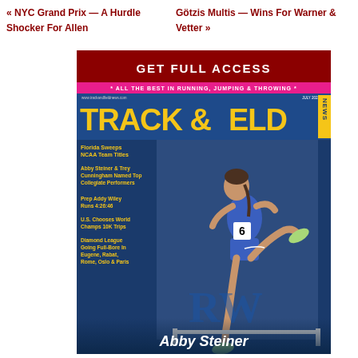« NYC Grand Prix — A Hurdle Shocker For Allen
Götzis Multis — Wins For Warner & Vetter »
GET FULL ACCESS
[Figure (photo): Track & Field News magazine cover, July 2022. Pink banner: ALL THE BEST IN RUNNING, JUMPING & THROWING. Title in yellow letters on blue background. Cover stories: Florida Sweeps NCAA Team Titles; Abby Steiner & Trey Cunningham Named Top Collegiate Performers; Prep Addy Wiley Runs 4:26:46; U.S. Chooses World Champs 10K Trips; Diamond League Going Full-Bore In Eugene, Rabat, Rome, Oslo & Paris. Photo of athlete Abby Steiner in blue uniform number 6 hurdling. Abby Steiner name at bottom in italic white.]